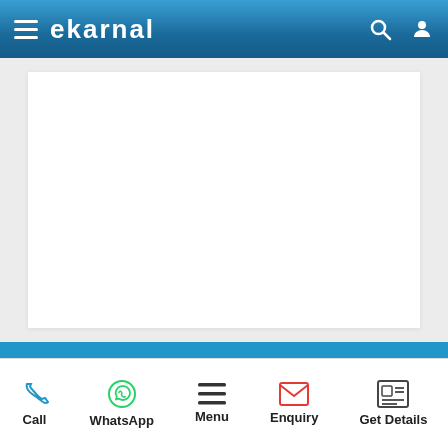eKarnal - navigation bar with hamburger menu, logo, search and user icons
[Figure (screenshot): White content card area on grey background, mostly blank/empty]
Call | WhatsApp | Menu | Enquiry | Get Details